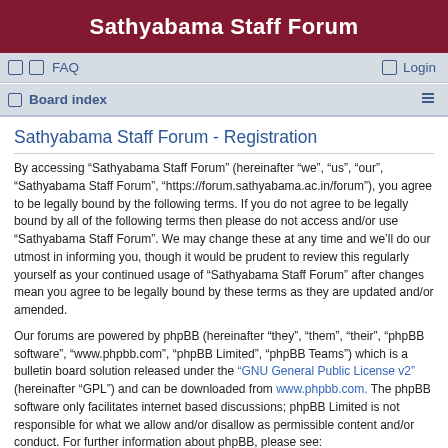Sathyabama Staff Forum
FAQ   Login   Board index
Sathyabama Staff Forum - Registration
By accessing “Sathyabama Staff Forum” (hereinafter “we”, “us”, “our”, “Sathyabama Staff Forum”, “https://forum.sathyabama.ac.in/forum”), you agree to be legally bound by the following terms. If you do not agree to be legally bound by all of the following terms then please do not access and/or use “Sathyabama Staff Forum”. We may change these at any time and we’ll do our utmost in informing you, though it would be prudent to review this regularly yourself as your continued usage of “Sathyabama Staff Forum” after changes mean you agree to be legally bound by these terms as they are updated and/or amended.
Our forums are powered by phpBB (hereinafter “they”, “them”, “their”, “phpBB software”, “www.phpbb.com”, “phpBB Limited”, “phpBB Teams”) which is a bulletin board solution released under the “GNU General Public License v2” (hereinafter “GPL”) and can be downloaded from www.phpbb.com. The phpBB software only facilitates internet based discussions; phpBB Limited is not responsible for what we allow and/or disallow as permissible content and/or conduct. For further information about phpBB, please see: